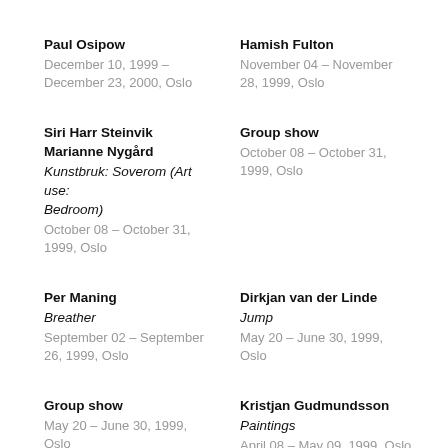Paul Osipow
December 10, 1999 – December 23, 2000, Oslo
Hamish Fulton
November 04 – November 28, 1999, Oslo
Siri Harr Steinvik
Marianne Nygård
Kunstbruk: Soverom (Art use: Bedroom)
October 08 – October 31, 1999, Oslo
Group show
October 08 – October 31, 1999, Oslo
Per Maning
Breather
September 02 – September 26, 1999, Oslo
Dirkjan van der Linde
Jump
May 20 – June 30, 1999, Oslo
Group show
May 20 – June 30, 1999, Oslo
Kristjan Gudmundsson
Paintings
April 08 – May 09, 1999, Oslo